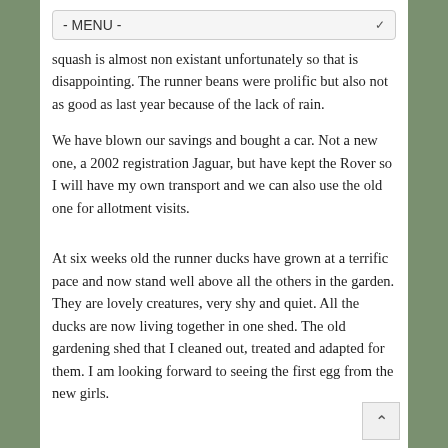- MENU -
squash is almost non existant unfortunately so that is disappointing. The runner beans were prolific but also not as good as last year because of the lack of rain.
We have blown our savings and bought a car. Not a new one, a 2002 registration Jaguar, but have kept the Rover so I will have my own transport and we can also use the old one for allotment visits.
At six weeks old the runner ducks have grown at a terrific pace and now stand well above all the others in the garden. They are lovely creatures, very shy and quiet. All the ducks are now living together in one shed. The old gardening shed that I cleaned out, treated and adapted for them. I am looking forward to seeing the first egg from the new girls.